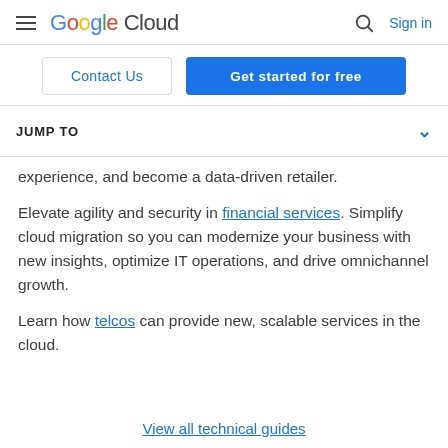Google Cloud — Sign in
Contact Us | Get started for free
JUMP TO
experience, and become a data-driven retailer.
Elevate agility and security in financial services. Simplify cloud migration so you can modernize your business with new insights, optimize IT operations, and drive omnichannel growth.
Learn how telcos can provide new, scalable services in the cloud.
View all technical guides